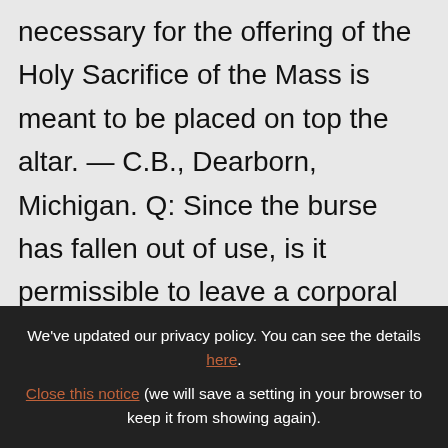necessary for the offering of the Holy Sacrifice of the Mass is meant to be placed on top the altar. — C.B., Dearborn, Michigan. Q: Since the burse has fallen out of use, is it permissible to leave a corporal on the altar at all times or must it be taken to the sacristy after each celebration of the Eucharist? — H.J., Peabody, Massachusetts

A: The use of the altar cloth is addressed in No. 304 of the General Instruction of the Roman
We've updated our privacy policy. You can see the details here. Close this notice (we will save a setting in your browser to keep it from showing again).